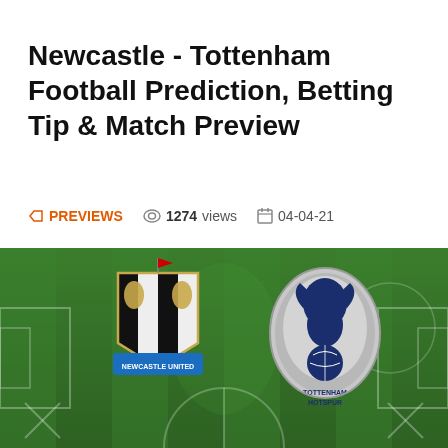Newcastle - Tottenham Football Prediction, Betting Tip & Match Preview
PREVIEWS   1274 views   04-04-21
[Figure (photo): Football match preview image showing Newcastle United and Tottenham Hotspur crests on a football pitch background with Premier League logo watermark]